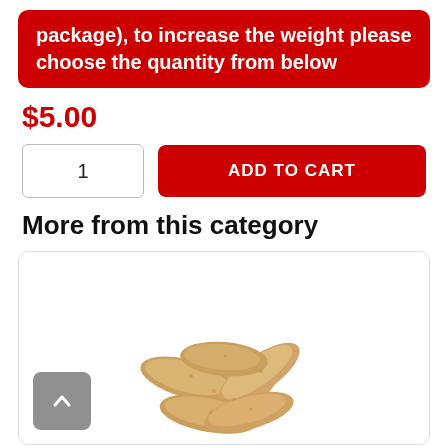package), to increase the weight please choose the quantity from below
$5.00
1 | ADD TO CART
More from this category
[Figure (photo): A pile of roasted cashew nuts in a product card with a white background.]